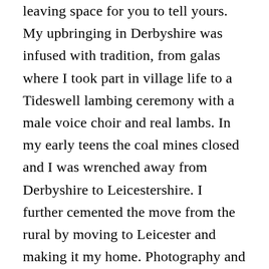leaving space for you to tell yours. My upbringing in Derbyshire was infused with tradition, from galas where I took part in village life to a Tideswell lambing ceremony with a male voice choir and real lambs. In my early teens the coal mines closed and I was wrenched away from Derbyshire to Leicestershire. I further cemented the move from the rural by moving to Leicester and making it my home. Photography and art was always an interest, but moving out at eighteen demanded a ‘sensible’ job, and that’s where I languished for many years. One day I bought